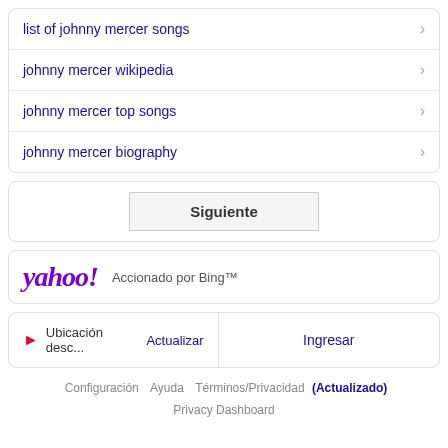list of johnny mercer songs
johnny mercer wikipedia
johnny mercer top songs
johnny mercer biography
Siguiente
[Figure (logo): Yahoo! logo with text 'Accionado por Bing™']
Ubicación desc... Actualizar | Ingresar
Configuración  Ayuda  Términos/Privacidad (Actualizado)  Privacy Dashboard